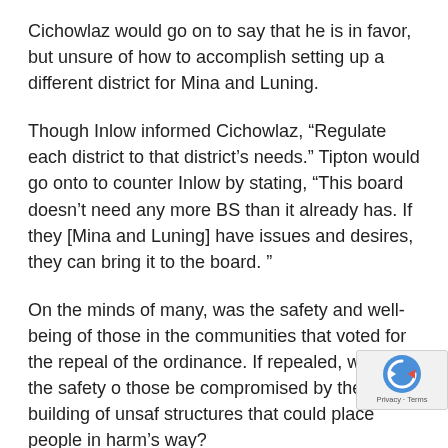Cichowlaz would go on to say that he is in favor, but unsure of how to accomplish setting up a different district for Mina and Luning.
Though Inlow informed Cichowlaz, “Regulate each district to that district’s needs.” Tipton would go onto to counter Inlow by stating, “This board doesn’t need any more BS than it already has. If they [Mina and Luning] have issues and desires, they can bring it to the board. ”
On the minds of many, was the safety and well-being of those in the communities that voted for the repeal of the ordinance. If repealed, would the safety of those be compromised by the building of unsafe structures that could place people in harm’s way?